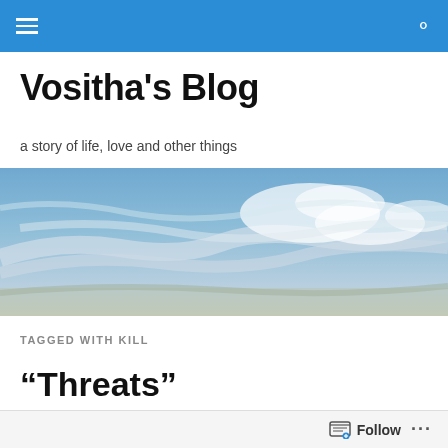Vositha's Blog (navigation bar with hamburger menu and search icon)
Vositha's Blog
a story of life, love and other things
[Figure (photo): Panoramic sky photograph with blue sky and wispy clouds]
TAGGED WITH KILL
“Threats”
Follow ...